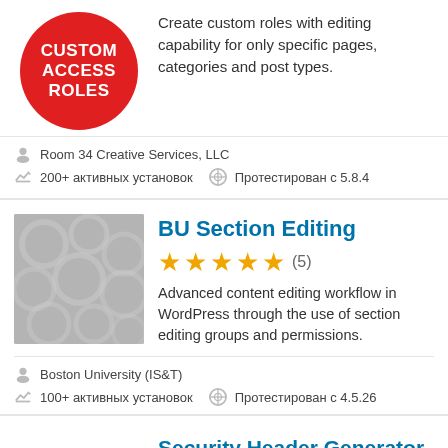[Figure (logo): Red oval with white bold text: CUSTOM ACCESS ROLES]
Create custom roles with editing capability for only specific pages, categories and post types.
Room 34 Creative Services, LLC
200+ активных установок  Протестирован с 5.8.4
BU Section Editing
[Figure (illustration): Gray placeholder thumbnail with circular pattern]
★★★★★ (5)
Advanced content editing workflow in WordPress through the use of section editing groups and permissions.
Boston University (IS&T)
100+ активных установок  Протестирован с 4.5.26
Security Header Generator
[Figure (logo): Security Header Generator circular logo (partial)]